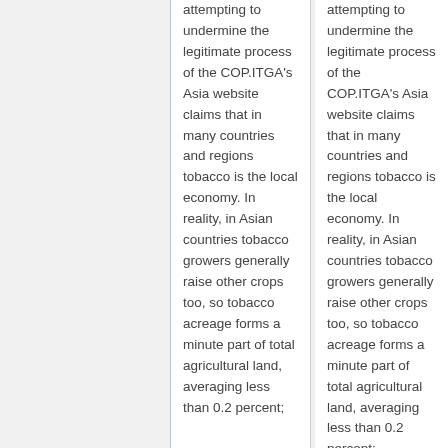attempting to undermine the legitimate process of the COP.ITGA's Asia website claims that in many countries and regions tobacco is the local economy. In reality, in Asian countries tobacco growers generally raise other crops too, so tobacco acreage forms a minute part of total agricultural land, averaging less than 0.2 percent;
attempting to undermine the legitimate process of the COP.ITGA's Asia website claims that in many countries and regions tobacco is the local economy. In reality, in Asian countries tobacco growers generally raise other crops too, so tobacco acreage forms a minute part of total agricultural land, averaging less than 0.2 percent;